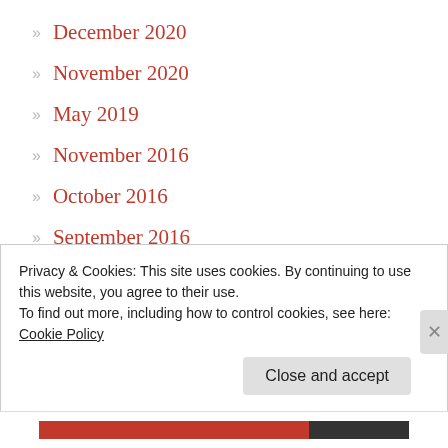December 2020
November 2020
May 2019
November 2016
October 2016
September 2016
August 2016
July 2016
June 2016
Privacy & Cookies: This site uses cookies. By continuing to use this website, you agree to their use.
To find out more, including how to control cookies, see here: Cookie Policy
Close and accept